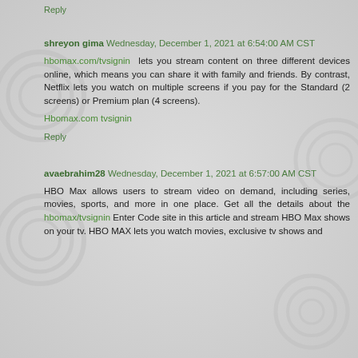Reply
shreyon gima Wednesday, December 1, 2021 at 6:54:00 AM CST
hbomax.com/tvsignin lets you stream content on three different devices online, which means you can share it with family and friends. By contrast, Netflix lets you watch on multiple screens if you pay for the Standard (2 screens) or Premium plan (4 screens).
Hbomax.com tvsignin
Reply
avaebrahim28 Wednesday, December 1, 2021 at 6:57:00 AM CST
HBO Max allows users to stream video on demand, including series, movies, sports, and more in one place. Get all the details about the hbomax/tvsignin Enter Code site in this article and stream HBO Max shows on your tv. HBO MAX lets you watch movies, exclusive tv shows and